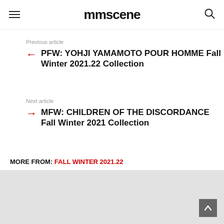mmscene
Previous article
PFW: YOHJI YAMAMOTO POUR HOMME Fall Winter 2021.22 Collection
Next article
MFW: CHILDREN OF THE DISCORDANCE Fall Winter 2021 Collection
MORE FROM: FALL WINTER 2021.22
[Figure (photo): Light gray placeholder image at bottom of page]